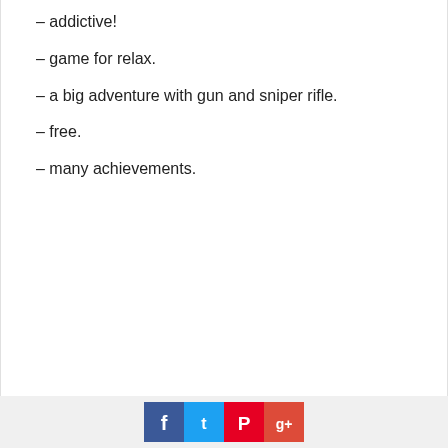– addictive!
– game for relax.
– a big adventure with gun and sniper rifle.
– free.
– many achievements.
[Figure (infographic): Scroll to top button (grey arrow up button) in the lower right corner of the main content area]
Social share icons: Facebook, Twitter, Pinterest, Google+